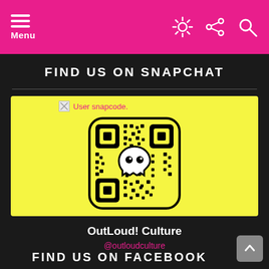Menu
FIND US ON SNAPCHAT
[Figure (illustration): Snapchat user snapcode QR code on yellow background with Snapchat ghost logo in center]
OutLoud! Culture
@outloudculture
FIND US ON FACEBOOK